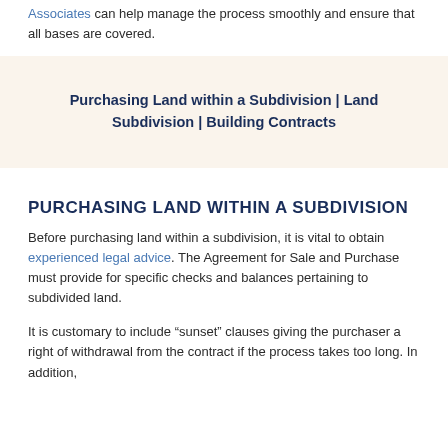Associates can help manage the process smoothly and ensure that all bases are covered.
Purchasing Land within a Subdivision | Land Subdivision | Building Contracts
PURCHASING LAND WITHIN A SUBDIVISION
Before purchasing land within a subdivision, it is vital to obtain experienced legal advice. The Agreement for Sale and Purchase must provide for specific checks and balances pertaining to subdivided land.
It is customary to include “sunset” clauses giving the purchaser a right of withdrawal from the contract if the process takes too long. In addition,